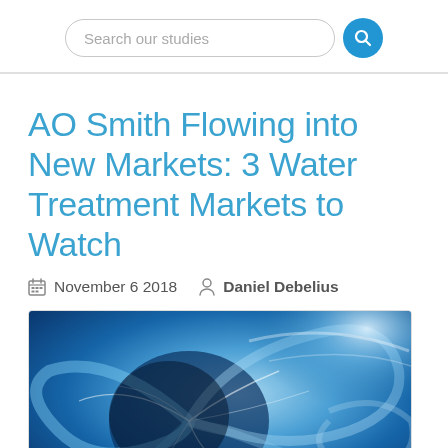Search our studies
AO Smith Flowing into New Markets: 3 Water Treatment Markets to Watch
November 6 2018   Daniel Debelius
[Figure (photo): Abstract swirling blue water with light reflections, artistic water treatment themed image]